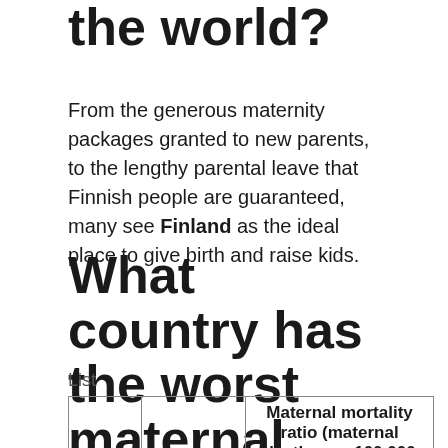the world?
From the generous maternity packages granted to new parents, to the lengthy parental leave that Finnish people are guaranteed, many see Finland as the ideal place to give birth and raise kids.
What country has the worst maternal health?
List
| Rank | Country | Maternal mortality ratio (maternal deaths per 100,000 live |
| --- | --- | --- |